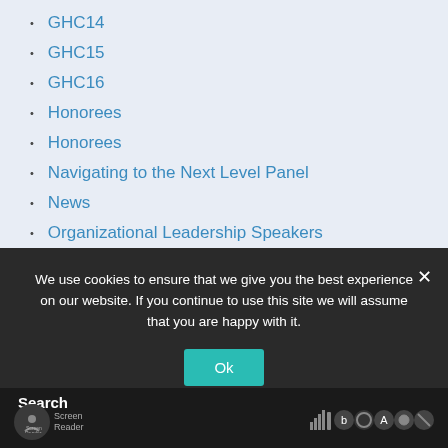GHC14
GHC15
GHC16
Honorees
Honorees
Navigating to the Next Level Panel
News
Organizational Leadership Speakers
Press Releases
Professional Development Speakers
Speakers
We use cookies to ensure that we give you the best experience on our website. If you continue to use this site we will assume that you are happy with it.
Ok
Search